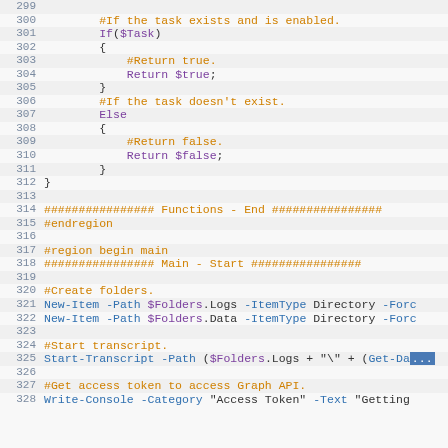[Figure (screenshot): PowerShell code editor screenshot showing lines 299-328 of a script. Code includes conditional If/Else blocks returning $true/$false, region markers for Functions-End and Main-Start, folder creation commands, Start-Transcript call, and beginning of Write-Console command. Syntax highlighted with orange for comments, purple for keywords, blue for cmdlets.]